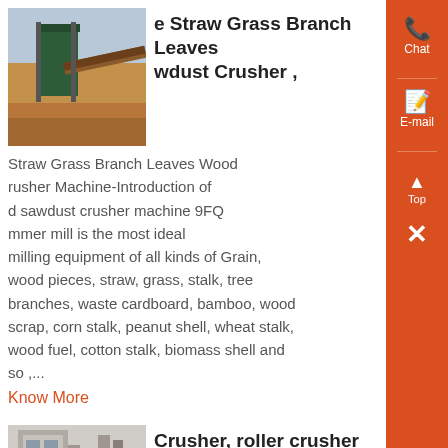e Straw Grass Branch Leaves wdust Crusher ,
[Figure (photo): Industrial conveyor belt / machinery at a construction or mining site]
Straw Grass Branch Leaves Wood rusher Machine-Introduction of d sawdust crusher machine 9FQ mmer mill is the most ideal milling equipment of all kinds of Grain, wood pieces, straw, grass, stalk, tree branches, waste cardboard, bamboo, wood scrap, corn stalk, peanut shell, wheat stalk, wood fuel, cotton stalk, biomass shell and so ,...
Know More
Crusher, roller crusher er crusher ,
[Figure (photo): Industrial crusher or roller crusher machine, industrial facility interior]